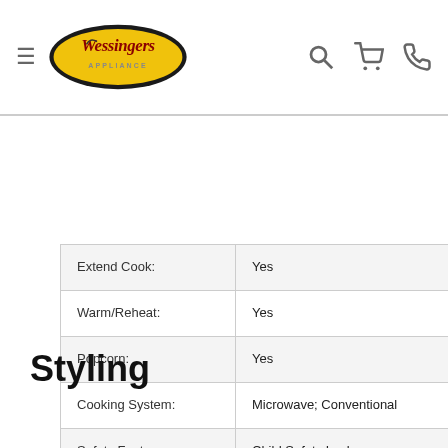Wessingers Appliance — navigation header
| Extend Cook: | Yes |
| Warm/Reheat: | Yes |
| Popcorn: | Yes |
| Cooking System: | Microwave; Conventional |
| Safety Features: | Child Safety Lock |
Styling
| Control Panel Color: | Black |